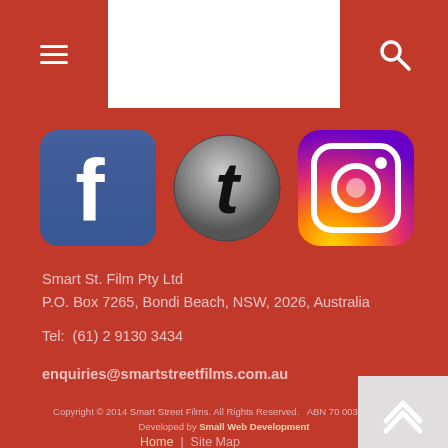[Figure (screenshot): Top navigation bar with hamburger menu icon on left red button, white center area, and search icon on right red button]
[Figure (illustration): Three social media icons: Facebook (blue square with f), Twitter (dark circular with t), Instagram (gradient square with camera icon)]
Smart St. Film Pty Ltd
P.O. Box 7265, Bondi Beach, NSW, 2026, Australia
Tel:  (61) 2 9130 3434
enquiries@smartstreetfilms.com.au
Copyright © 2014 Smart Street Films. All Rights Reserved.   ABN 70 003 203 138
Developed by Small Web Development
Home  |  Site Map